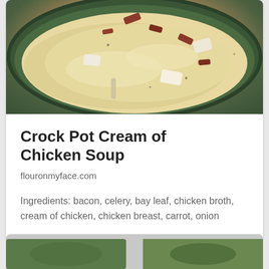[Figure (photo): Close-up photo of cream of chicken soup in a dark green bowl, showing chunks of chicken and bacon in a creamy broth]
Crock Pot Cream of Chicken Soup
flouronmyface.com
Ingredients: bacon, celery, bay leaf, chicken broth, cream of chicken, chicken breast, carrot, onion
[Figure (photo): Partial view of another recipe card at the bottom of the page]